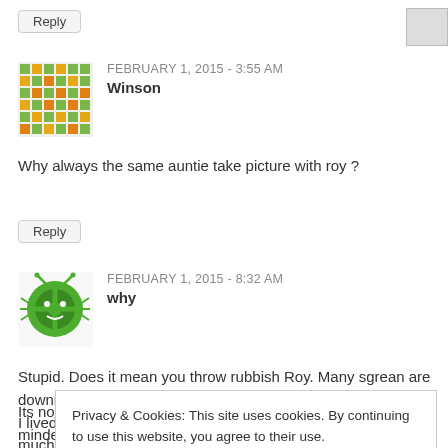Reply
FEBRUARY 1, 2015 - 3:55 AM
Winson
Why always the same auntie take picture with roy ?
Reply
FEBRUARY 1, 2015 - 8:32 AM
why
Stupid. Does it mean you throw rubbish Roy. Many sgrean are downright rude too. Dangerous cut in front of you when driving. I lived in UK for sometime and people dont do such.. although i much dislike the “white thinking they are superior” but this polite behavior we are lacking in
Privacy & Cookies: This site uses cookies. By continuing to use this website, you agree to their use.
To find out more, including how to control cookies, see here: Cookie Policy
Close and accept
Its not a matter of poor or rich, its a matter of your own civil mindedness